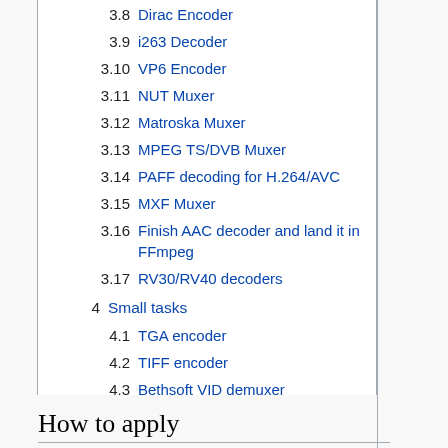3.8 Dirac Encoder
3.9 i263 Decoder
3.10 VP6 Encoder
3.11 NUT Muxer
3.12 Matroska Muxer
3.13 MPEG TS/DVB Muxer
3.14 PAFF decoding for H.264/AVC
3.15 MXF Muxer
3.16 Finish AAC decoder and land it in FFmpeg
3.17 RV30/RV40 decoders
4 Small tasks
4.1 TGA encoder
4.2 TIFF encoder
4.3 Bethsoft VID demuxer
4.4 vivo demuxer
4.5 Optimize some code
How to apply